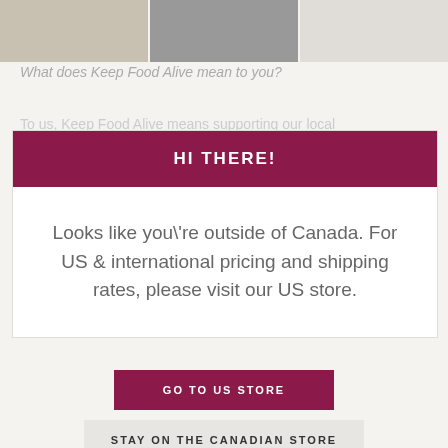[Figure (photo): Three horizontal image blocks showing food and people scenes, partially visible at the top of the page]
What does Keep Food Alive mean to you?
To us, Keep Food Alive means supporting our local
HI THERE!
Looks like you\'re outside of Canada. For US & international pricing and shipping rates, please visit our US store.
GO TO US STORE
STAY ON THE CANADIAN STORE